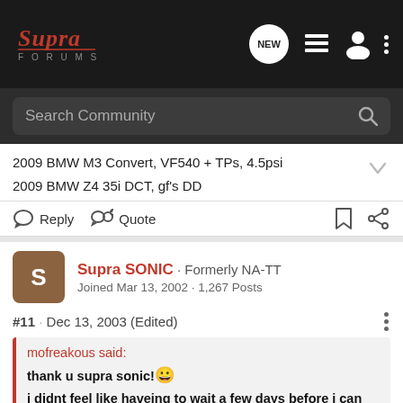[Figure (screenshot): Supra Forums navigation bar with logo, NEW chat icon, list icon, user icon, and three-dot menu on dark background]
[Figure (screenshot): Search Community search bar with magnifying glass icon on dark background]
2009 BMW M3 Convert, VF540 + TPs, 4.5psi
2009 BMW Z4 35i DCT, gf's DD
Reply   Quote
Supra SONIC · Formerly NA-TT
Joined Mar 13, 2002 · 1,267 Posts
#11 · Dec 13, 2003 (Edited)
mofreakous said:
thank u supra sonic! 😀
i didnt feel like haveing to wait a few days before i can search on mkiv.com like i had to with this website, im not registered with mkiv.com yet. so does anyone have any starter settings? should i lean it out a bit before we dyno?